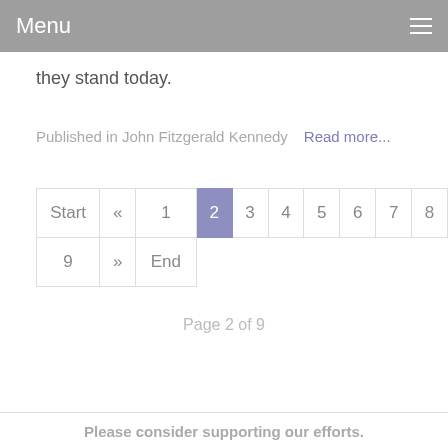Menu
they stand today.
Published in  John Fitzgerald Kennedy    Read more...
| Start | « | 1 | 2 | 3 | 4 | 5 | 6 | 7 | 8 |
| 9 | » | End |
Page 2 of 9
Please consider supporting our efforts.